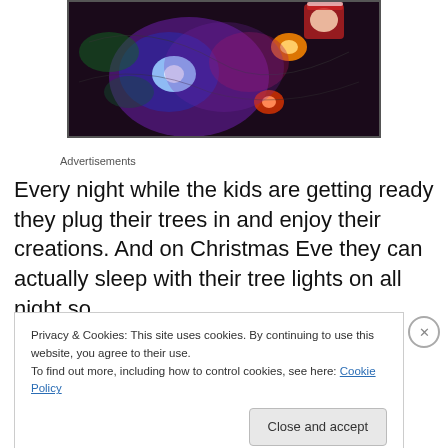[Figure (photo): Close-up photo of colorful Christmas tree lights (blue, purple, red, orange) with a Santa ornament visible at the top right, displayed against a dark background]
Advertisements
Every night while the kids are getting ready they plug their trees in and enjoy their creations. And on Christmas Eve they can actually sleep with their tree lights on all night so
Privacy & Cookies: This site uses cookies. By continuing to use this website, you agree to their use.
To find out more, including how to control cookies, see here: Cookie Policy
Close and accept